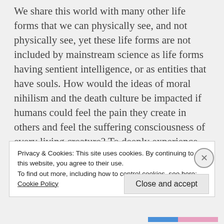We share this world with many other life forms that we can physically see, and not physically see, yet these life forms are not included by mainstream science as life forms having sentient intelligence, or as entities that have souls. How would the ideas of moral nihilism and the death culture be impacted if humans could feel the pain they create in others and feel the suffering consciousness of every living creature? To deeply experience the fear and pain created when that creature is brutalized at the hand
Privacy & Cookies: This site uses cookies. By continuing to use this website, you agree to their use.
To find out more, including how to control cookies, see here: Cookie Policy
Close and accept